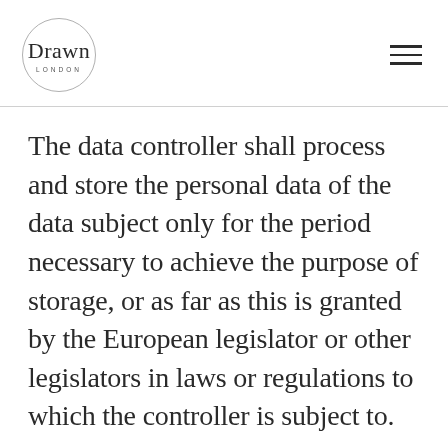Drawn London logo and navigation menu
The data controller shall process and store the personal data of the data subject only for the period necessary to achieve the purpose of storage, or as far as this is granted by the European legislator or other legislators in laws or regulations to which the controller is subject to.
If the storage purpose is not applicable, or if a storage period